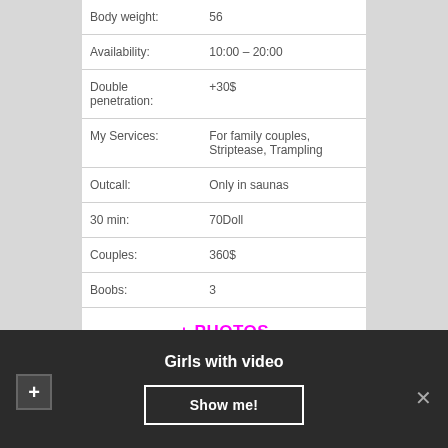| Field | Value |
| --- | --- |
| Body weight: | 56 |
| Availability: | 10:00 – 20:00 |
| Double penetration: | +30$ |
| My Services: | For family couples, Striptease, Trampling |
| Outcall: | Only in saunas |
| 30 min: | 70Doll |
| Couples: | 360$ |
| Boobs: | 3 |
+ PHOTOS
Girls with video
Show me!